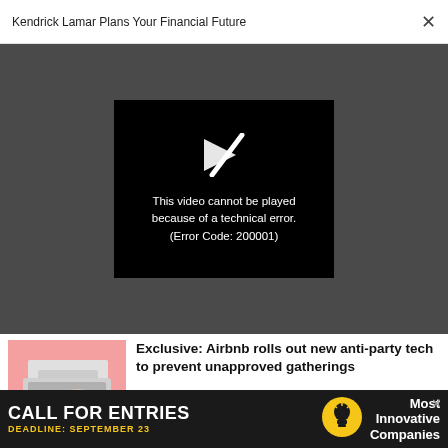Kendrick Lamar Plans Your Financial Future  ×
[Figure (screenshot): Video player showing error message on dark grey background. Black video frame with broken play icon and text: 'This video cannot be played because of a technical error. (Error Code: 200001)']
Exclusive: Airbnb rolls out new anti-party tech to prevent unapproved gatherings
TECHNOLOGY
The frontrunners in the trillion-dollar...
[Figure (infographic): Advertisement banner: CALL FOR ENTRIES  DEADLINE: SEPTEMBER 23  [lightbulb icon]  Most Innovative Companies]